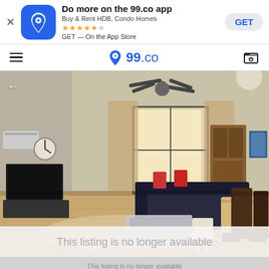[Figure (screenshot): App install banner for 99.co with icon, title 'Do more on the 99.co app', subtitle 'Buy & Rent HDB, Condo Homes', star rating, 'GET — On the App Store', and GET button]
99.co navigation bar with hamburger menu, 99.co logo, and folder/saved icon
[Figure (photo): Interior photo of a Singapore HDB flat living room with ceiling fan, wooden floor, leather sofa, coffee table, dining table with chairs, TV cabinet, and wood cabinet]
This listing is no longer available
This listing is no longer available